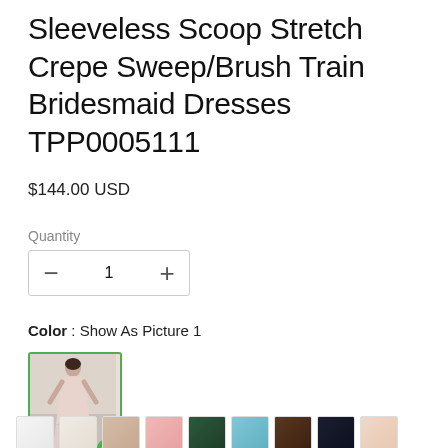Sleeveless Scoop Stretch Crepe Sweep/Brush Train Bridesmaid Dresses TPP0005111
$144.00 USD
Quantity
1
Color : Show As Picture 1
[Figure (photo): Selected color thumbnail showing a person wearing a pink bridesmaid dress with a green checkmark indicating selection]
[Figure (photo): Row of color swatch thumbnails at the bottom showing various fabric colors: white, off-white, beige/tan, pink, dark green, light blue/teal, dark brown, dark navy, and light peach]